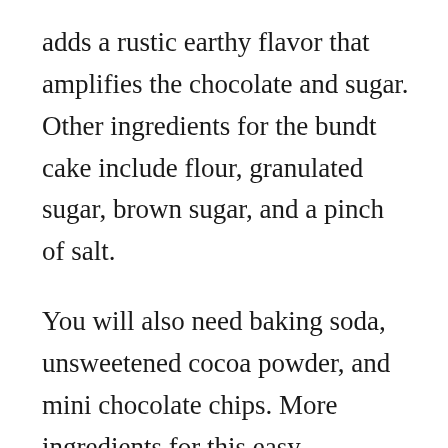adds a rustic earthy flavor that amplifies the chocolate and sugar. Other ingredients for the bundt cake include flour, granulated sugar, brown sugar, and a pinch of salt.
You will also need baking soda, unsweetened cocoa powder, and mini chocolate chips. More ingredients for this easy chocolate cake recipe include cinnamon, nutmeg, vanilla extract, and eggs. Don't forget the vegetable oil, melted butter, whole milk, and water.
In order to make the perfect chocolate bundt